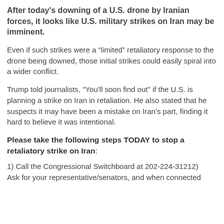After today's downing of a U.S. drone by Iranian forces, it looks like U.S. military strikes on Iran may be imminent.
Even if such strikes were a “limited” retaliatory response to the drone being downed, those initial strikes could easily spiral into a wider conflict.
Trump told journalists, "You'll soon find out" if the U.S. is planning a strike on Iran in retaliation. He also stated that he suspects it may have been a mistake on Iran’s part, finding it hard to believe it was intentional.
Please take the following steps TODAY to stop a retaliatory strike on Iran:
1) Call the Congressional Switchboard at 202-224-31212) Ask for your representative/senators, and when connected